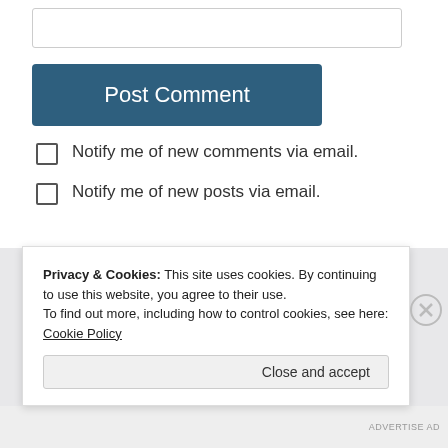[Figure (screenshot): Text input box (form field) at top of page]
Post Comment
Notify me of new comments via email.
Notify me of new posts via email.
MEET THE BLOGGERS
Privacy & Cookies: This site uses cookies. By continuing to use this website, you agree to their use.
To find out more, including how to control cookies, see here: Cookie Policy
Close and accept